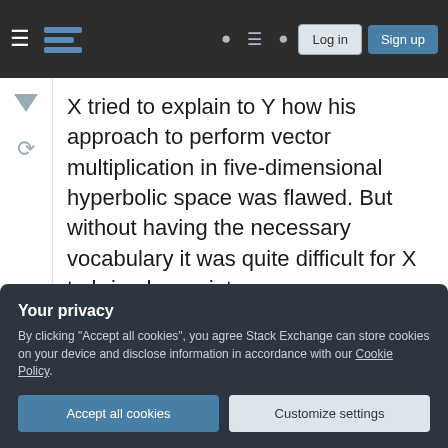Stack Exchange navigation bar with Log in and Sign up buttons
X tried to explain to Y how his approach to perform vector multiplication in five-dimensional hyperbolic space was flawed. But without having the necessary vocabulary it was quite difficult for X to bring her point across.
Y seemed sceptical and asked X whether she actually had a real degree in mathematics or if the university in her home country just gave degrees to anyone.
Your privacy
By clicking "Accept all cookies", you agree Stack Exchange can store cookies on your device and disclose information in accordance with our Cookie Policy.
any of it and started shouting. X didn't